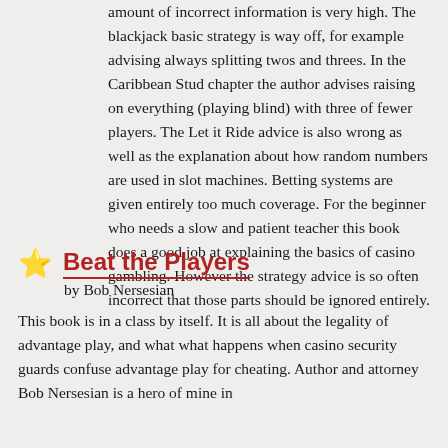amount of incorrect information is very high. The blackjack basic strategy is way off, for example advising always splitting twos and threes. In the Caribbean Stud chapter the author advises raising on everything (playing blind) with three of fewer players. The Let it Ride advice is also wrong as well as the explanation about how random numbers are used in slot machines. Betting systems are given entirely too much coverage. For the beginner who needs a slow and patient teacher this book does a good job at explaining the basics of casino gambling. However the strategy advice is so often incorrect that those parts should be ignored entirely.
Beat the Players
by Bob Nersesian
This book is in a class by itself. It is all about the legality of advantage play, and what what happens when casino security guards confuse advantage play for cheating. Author and attorney Bob Nersesian is a hero of mine in